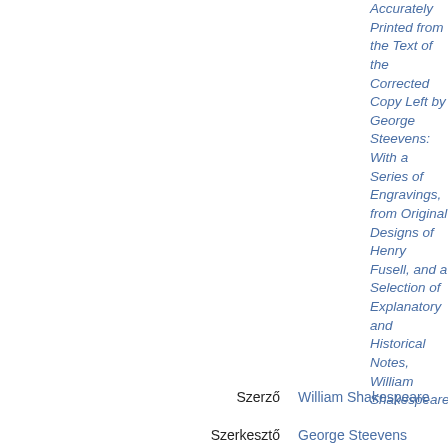Accurately Printed from the Text of the Corrected Copy Left by George Steevens: With a Series of Engravings, from Original Designs of Henry Fusell, and a Selection of Explanatory and Historical Notes, William Shakespeare
Szerző  William Shakespeare
Szerkesztő  George Steevens